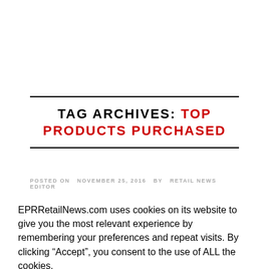TAG ARCHIVES: TOP PRODUCTS PURCHASED
POSTED ON NOVEMBER 25, 2016 BY RETAIL NEWS EDITOR
EPRRetailNews.com uses cookies on its website to give you the most relevant experience by remembering your preferences and repeat visits. By clicking “Accept”, you consent to the use of ALL the cookies.
Cookie settings  ACCEPT